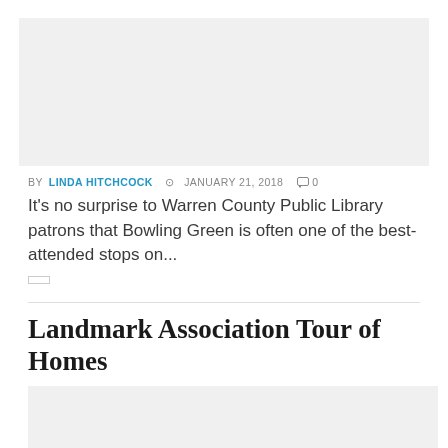[Figure (photo): Gray placeholder image block at top of article]
BY LINDA HITCHCOCK  © JANUARY 21, 2018  ○ 0
It's no surprise to Warren County Public Library patrons that Bowling Green is often one of the best-attended stops on...
Landmark Association Tour of Homes
[Figure (photo): Gray placeholder image block for Landmark Association Tour of Homes article]